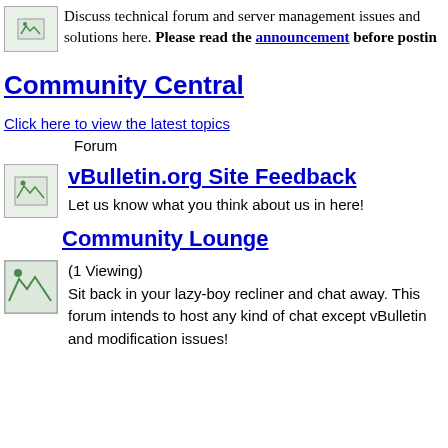[Figure (other): Small forum icon image (broken/placeholder)]
Discuss technical forum and server management issues and solutions here. Please read the announcement before posting
Community Central
Click here to view the latest topics
Forum
[Figure (other): Small forum icon image (broken/placeholder)]
vBulletin.org Site Feedback
Let us know what you think about us in here!
Community Lounge
[Figure (other): Small forum icon image (broken/placeholder)]
(1 Viewing)
Sit back in your lazy-boy recliner and chat away. This forum intends to host any kind of chat except vBulletin and modification issues!